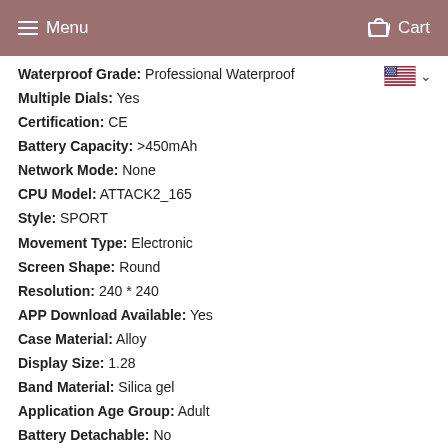Menu  Cart
Waterproof Grade: Professional Waterproof
Multiple Dials: Yes
Certification: CE
Battery Capacity: >450mAh
Network Mode: None
CPU Model: ATTACK2_165
Style: SPORT
Movement Type: Electronic
Screen Shape: Round
Resolution: 240 * 240
APP Download Available: Yes
Case Material: Alloy
Display Size: 1.28
Band Material: Silica gel
Application Age Group: Adult
Battery Detachable: No
Band Detachable: No